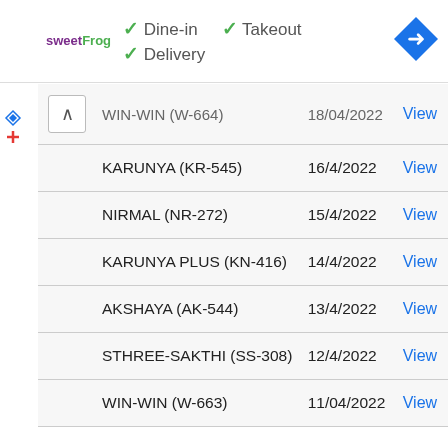[Figure (logo): sweetFrog logo with green and purple text]
✓ Dine-in  ✓ Takeout  ✓ Delivery
[Figure (other): Blue diamond navigation/directions icon]
| Name | Date | Action |
| --- | --- | --- |
| WIN-WIN (W-664) | 18/04/2022 | View |
| KARUNYA (KR-545) | 16/4/2022 | View |
| NIRMAL (NR-272) | 15/4/2022 | View |
| KARUNYA PLUS (KN-416) | 14/4/2022 | View |
| AKSHAYA (AK-544) | 13/4/2022 | View |
| STHREE-SAKTHI (SS-308) | 12/4/2022 | View |
| WIN-WIN (W-663) | 11/04/2022 | View |